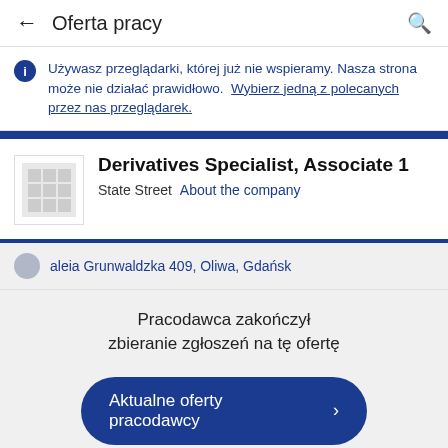← Oferta pracy
Używasz przeglądarki, której już nie wspieramy. Nasza strona może nie działać prawidłowo. Wybierz jedną z polecanych przez nas przeglądarek.
Derivatives Specialist, Associate 1
State Street  About the company
aleia Grunwaldzka 409, Oliwa, Gdańsk
Pracodawca zakończył zbieranie zgłoszeń na tę ofertę
Aktualne oferty pracodawcy